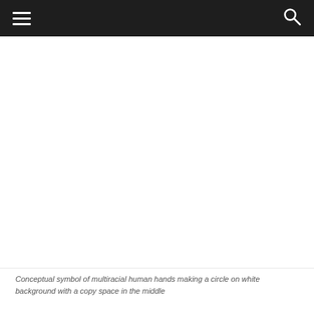[Figure (photo): Large white/blank image area representing a conceptual symbol of multiracial human hands making a circle on white background with a copy space in the middle]
Conceptual symbol of multiracial human hands making a circle on white background with a copy space in the middle